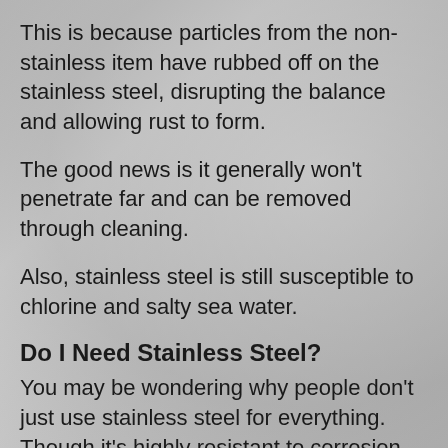This is because particles from the non-stainless item have rubbed off on the stainless steel, disrupting the balance and allowing rust to form.
The good news is it generally won't penetrate far and can be removed through cleaning.
Also, stainless steel is still susceptible to chlorine and salty sea water.
Do I Need Stainless Steel?
You may be wondering why people don't just use stainless steel for everything. Though it's highly resistant to corrosion,